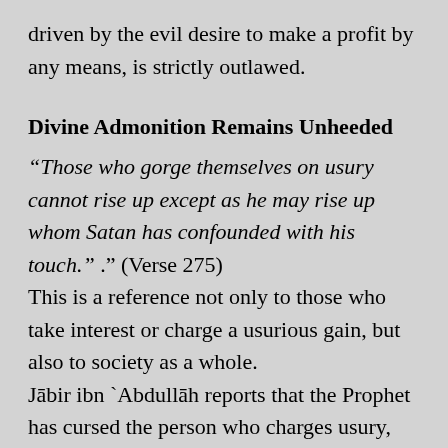driven by the evil desire to make a profit by any means, is strictly outlawed.
Divine Admonition Remains Unheeded
“Those who gorge themselves on usury cannot rise up except as he may rise up whom Satan has confounded with his touch.” .” (Verse 275)
This is a reference not only to those who take interest or charge a usurious gain, but also to society as a whole.
Jābir ibn `Abdullāh reports that the Prophet has cursed the person who charges usury, the one who pays it, the two witnesses and the one who writes the contract, saying: “They bear the same responsibility.